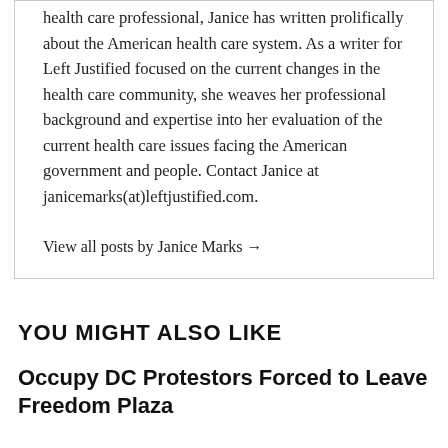health care professional, Janice has written prolifically about the American health care system. As a writer for Left Justified focused on the current changes in the health care community, she weaves her professional background and expertise into her evaluation of the current health care issues facing the American government and people. Contact Janice at janicemarks(at)leftjustified.com.
View all posts by Janice Marks →
YOU MIGHT ALSO LIKE
Occupy DC Protestors Forced to Leave Freedom Plaza